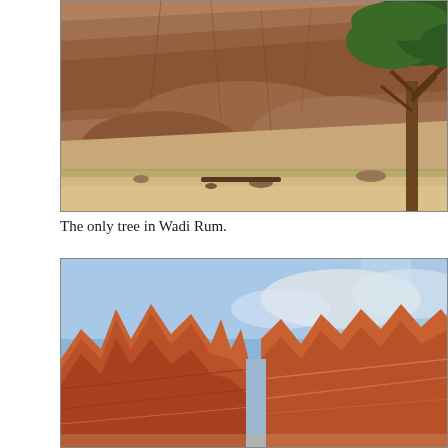[Figure (photo): Desert landscape in Wadi Rum showing a large rocky mountainside with reddish-brown rock formations and a single green acacia tree on the right side, with sandy ground in the foreground.]
The only tree in Wadi Rum.
[Figure (photo): Desert landscape in Wadi Rum showing dramatic red sandstone rock formations with layered striations against a blue sky with light clouds.]